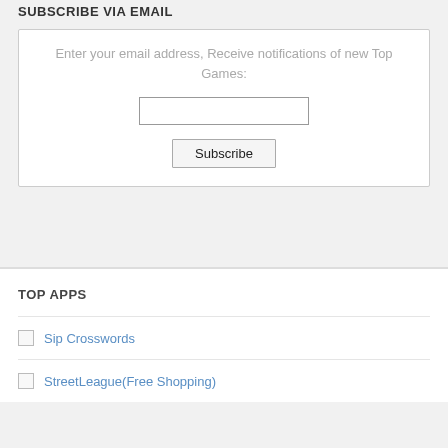SUBSCRIBE VIA EMAIL
Enter your email address, Receive notifications of new Top Games:
TOP APPS
Sip Crosswords
StreetLeague(Free Shopping)